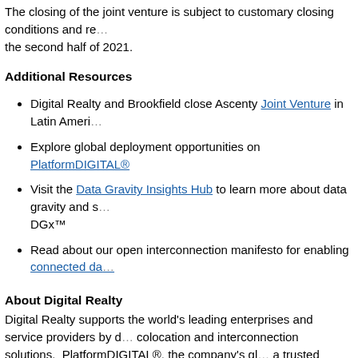The closing of the joint venture is subject to customary closing conditions and re... the second half of 2021.
Additional Resources
Digital Realty and Brookfield close Ascenty Joint Venture in Latin Ameri...
Explore global deployment opportunities on PlatformDIGITAL®
Visit the Data Gravity Insights Hub to learn more about data gravity and s... DGx™
Read about our open interconnection manifesto for enabling connected da...
About Digital Realty
Digital Realty supports the world's leading enterprises and service providers by d... colocation and interconnection solutions. PlatformDIGITAL®, the company's gl... a trusted foundation and proven Pervasive Datacenter Architecture (PDx™) solut... and efficiently managing data gravity challenges. Digital Realty's global data ce... connected communities that matter to them with 290 facilities in 47 metros acros... more about Digital Realty, please visit digitalrealty.com or follow us on LinkedIn...
About Brookfield Infrastructure